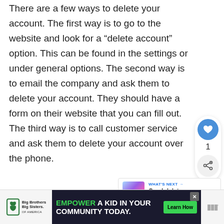There are a few ways to delete your account. The first way is to go to the website and look for a “delete account” option. This can be found in the settings or under general options. The second way is to email the company and ask them to delete your account. They should have a form on their website that you can fill out. The third way is to call customer service and ask them to delete your account over the phone.
[Figure (other): Like (heart) button, count of 1, and share button in a floating sidebar panel on the right side]
[Figure (other): What's Next panel showing a thumbnail and text 'Can I delete my gamerta...']
[Figure (other): Advertisement bar at the bottom: Big Brothers Big Sisters logo on left, dark banner reading 'EMPOWER A KID IN YOUR COMMUNITY TODAY.' with green Learn How button, and another logo on the right]